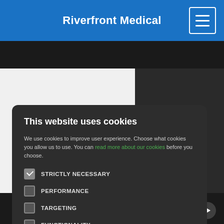Riverfront Medical
This website uses cookies
We use cookies to improve user experience. Choose what cookies you allow us to use. You can read more about our cookies before you choose.
STRICTLY NECESSARY
PERFORMANCE
TARGETING
FUNCTIONALITY
ACCEPT ALL
DECLINE ALL